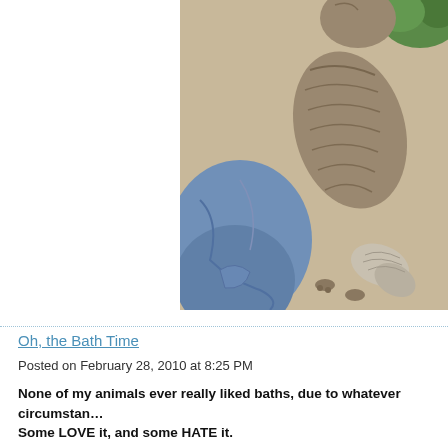[Figure (photo): A tabby cat viewed from above, standing on a beige carpet next to crumpled blue jeans. The cat has striped gray-brown fur and a fluffy tail. Green foliage is visible in the upper right corner.]
Oh, the Bath Time
Posted on February 28, 2010 at 8:25 PM
None of my animals ever really liked baths, due to whatever circumstan… Some LOVE it, and some HATE it. Most foxes never like baths and because I made the mistake to no… and was like, ZOMG! That clear wet stuff comes in bigger shapes n…